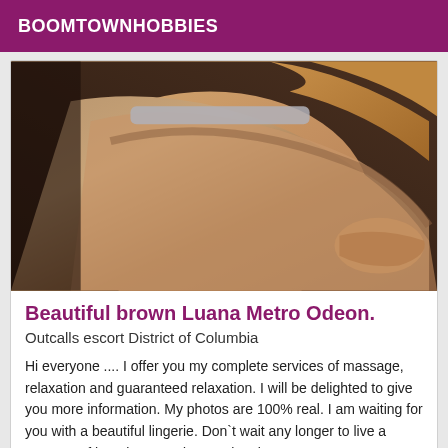BOOMTOWNHOBBIES
[Figure (photo): Close-up photo of a woman in a bra strap, torso visible, lying on a dark surface]
Beautiful brown Luana Metro Odeon.
Outcalls escort District of Columbia
Hi everyone .... I offer you my complete services of massage, relaxation and guaranteed relaxation. I will be delighted to give you more information. My photos are 100% real. I am waiting for you with a beautiful lingerie. Don`t wait any longer to live a moment of happiness and exceptional.